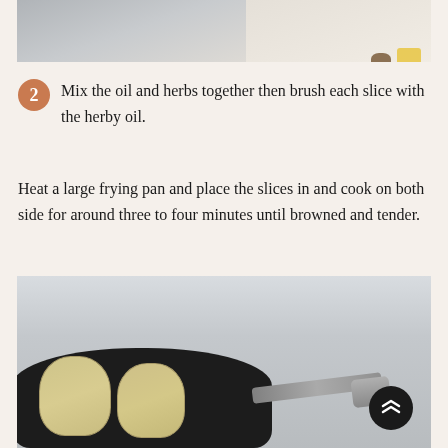[Figure (photo): Top portion of a food preparation photo showing kitchen scene with cookies/chocolate and yellow food item]
2 Mix the oil and herbs together then brush each slice with the herby oil.
Heat a large frying pan and place the slices in and cook on both side for around three to four minutes until browned and tender.
Remove from the pan and set aside. You can do this in batches.
[Figure (photo): Photo of a black non-stick frying pan with two slices of eggplant/aubergine being cooked, pan handle visible, kitchen background]